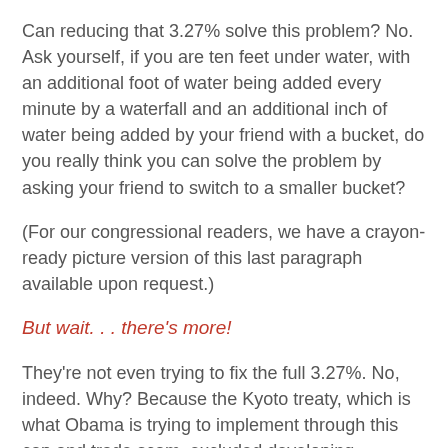Can reducing that 3.27% solve this problem? No. Ask yourself, if you are ten feet under water, with an additional foot of water being added every minute by a waterfall and an additional inch of water being added by your friend with a bucket, do you really think you can solve the problem by asking your friend to switch to a smaller bucket?
(For our congressional readers, we have a crayon-ready picture version of this last paragraph available upon request.)
But wait. . . there’s more!
They’re not even trying to fix the full 3.27%. No, indeed. Why? Because the Kyoto treaty, which is what Obama is trying to implement through this cap and trade scam, excluded developing countries (i.e. real polluters) from having to cut back their own emissions. Thus, China and India don’t need to make any cuts at all. Guess which country is the world’s biggest polluter? If you said China, then you’re too smart to be a Congressman. China accounts